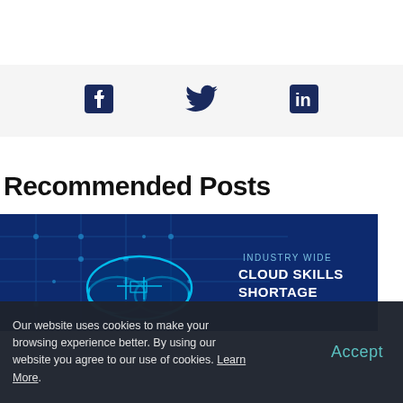[Figure (illustration): Social share icons: Facebook, Twitter, LinkedIn in dark navy blue on a light gray background bar]
Recommended Posts
[Figure (photo): Cloud computing circuit board image with dark blue background showing a glowing cloud outline on a circuit board, with text overlay: INDUSTRY WIDE CLOUD SKILLS SHORTAGE]
Our website uses cookies to make your browsing experience better. By using our website you agree to our use of cookies. Learn More.